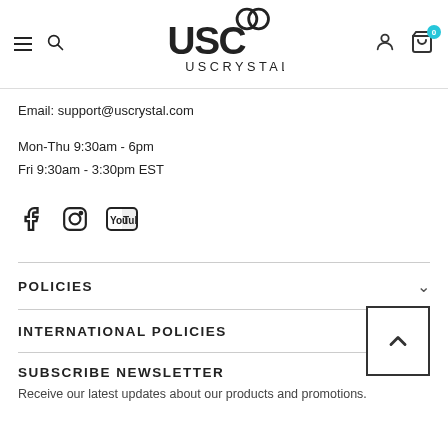USC USCRYSTAL navigation header with logo, search, user, and cart icons
Email: support@uscrystal.com
Mon-Thu 9:30am - 6pm
Fri 9:30am - 3:30pm EST
[Figure (infographic): Social media icons: Facebook, Instagram, YouTube]
POLICIES
INTERNATIONAL POLICIES
SUBSCRIBE NEWSLETTER
Receive our latest updates about our products and promotions.